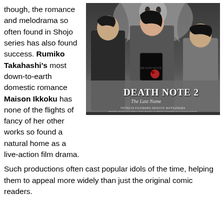though, the romance and melodrama so often found in Shojo series has also found success. Rumiko Takahashi's most down-to-earth domestic romance Maison Ikkoku has none of the flights of fancy of her other works so found a natural home as a live-action film drama. Such productions often cast popular idols of the time, helping them to appeal more widely than just the original comic readers.
[Figure (photo): Movie poster for Death Note 2: The Last Name, showing three characters — a young man in dark clothes, a young woman in the center holding a black book, and a dark-haired man on the right — against a background featuring an imposing supernatural creature. Cast credits include Tatsuya Fujiwara, Kenichi Matsuyama, Shigeki Honouwa, Erika Toda, Shoko Fujimura, Takeshi Kaga, Nana Katase, Sakura Uehara, Shido Nakamura, Shinnosuke Ikehata.]
drama. Such productions often cast popular idols of the time, helping them to appeal more widely than just the original comic readers.